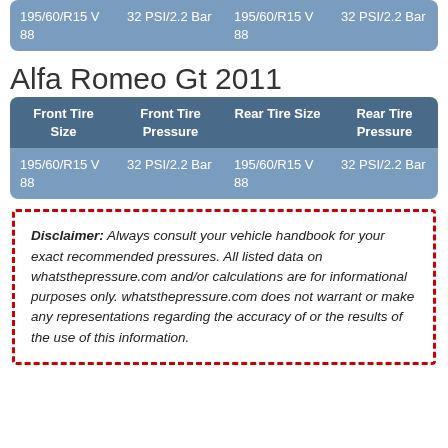| Front Tire Size | Front Tire Pressure | Rear Tire Size | Rear Tire Pressure |
| --- | --- | --- | --- |
| 195/60/R15 V 88 | 32 PSI/2.2 Bar | 195/60/R15 V 88 | 32 PSI/2.2 Bar |
Alfa Romeo Gt 2011
| Front Tire Size | Front Tire Pressure | Rear Tire Size | Rear Tire Pressure |
| --- | --- | --- | --- |
| 195/60/R15 V 88 | 32 PSI/2.2 Bar | 195/60/R15 V 88 | 32 PSI/2.2 Bar |
Disclaimer: Always consult your vehicle handbook for your exact recommended pressures. All listed data on whatsthepressure.com and/or calculations are for informational purposes only. whatsthepressure.com does not warrant or make any representations regarding the accuracy of or the results of the use of this information.